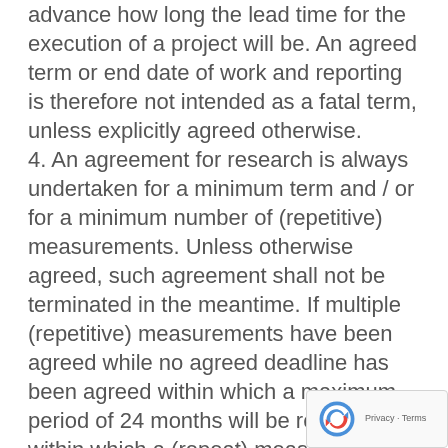advance how long the lead time for the execution of a project will be. An agreed term or end date of work and reporting is therefore not intended as a fatal term, unless explicitly agreed otherwise. 4. An agreement for research is always undertaken for a minimum term and / or for a minimum number of (repetitive) measurements. Unless otherwise agreed, such agreement shall not be terminated in the meantime. If multiple (repetitive) measurements have been agreed while no agreed deadline has been agreed within which a maximum period of 24 months will be required within which a (repeat) measurement must be started. 5. If, within the maximum term of the investigation, the (repeat) measurement